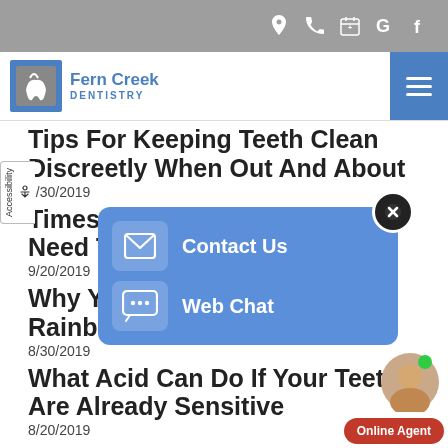Top navigation bar with location, phone, calendar, Google, Facebook icons
[Figure (logo): Fern Creek Dentistry logo with tooth icon]
Tips For Keeping Teeth Clean Discreetly When Out And About
9/30/2019
Times Where Your Tooth Will Need To Come Out
9/20/2019
Why You Should Always Eat A Rainbow Of Foods
8/30/2019
What Acid Can Do If Your Teeth Are Already Sensitive
8/20/2019
[Figure (screenshot): Contact Us and Web Chat popup overlay with blue background, envelope icon and chat icon]
[Figure (photo): Online Agent avatar photo of woman with green dot and red Online Agent button]